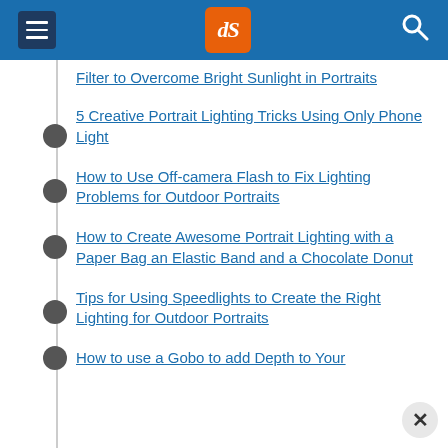dPS navigation header with hamburger menu, logo, and search icon
Filter to Overcome Bright Sunlight in Portraits
5 Creative Portrait Lighting Tricks Using Only Phone Light
How to Use Off-camera Flash to Fix Lighting Problems for Outdoor Portraits
How to Create Awesome Portrait Lighting with a Paper Bag an Elastic Band and a Chocolate Donut
Tips for Using Speedlights to Create the Right Lighting for Outdoor Portraits
How to use a Gobo to add Depth to Your